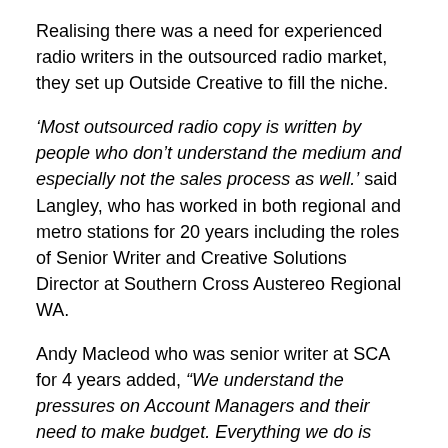Realising there was a need for experienced radio writers in the outsourced radio market, they set up Outside Creative to fill the niche.
‘Most outsourced radio copy is written by people who don’t understand the medium and especially not the sales process as well.’ said Langley, who has worked in both regional and metro stations for 20 years including the roles of Senior Writer and Creative Solutions Director at Southern Cross Austereo Regional WA.
Andy Macleod who was senior writer at SCA for 4 years added, “We understand the pressures on Account Managers and their need to make budget. Everything we do is aimed at making their life easier, from our 24-hour turnaround to writing copy that helps in rebooking a client.’
Based out of the South West of Western Australia, both